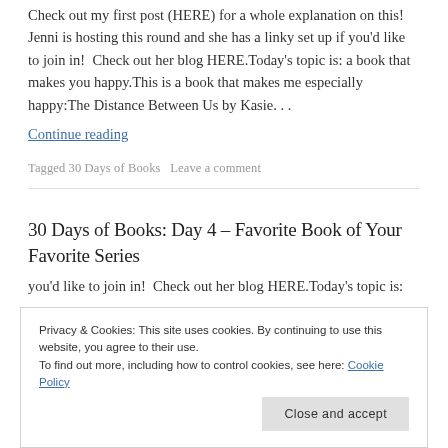Check out my first post (HERE) for a whole explanation on this!  Jenni is hosting this round and she has a linky set up if you'd like to join in!  Check out her blog HERE.Today's topic is: a book that makes you happy.This is a book that makes me especially happy:The Distance Between Us by Kasie. . .
Continue reading
Tagged 30 Days of Books   Leave a comment
30 Days of Books: Day 4 – Favorite Book of Your Favorite Series
you'd like to join in!  Check out her blog HERE.Today's topic is:
Privacy & Cookies: This site uses cookies. By continuing to use this website, you agree to their use.
To find out more, including how to control cookies, see here: Cookie Policy
Close and accept